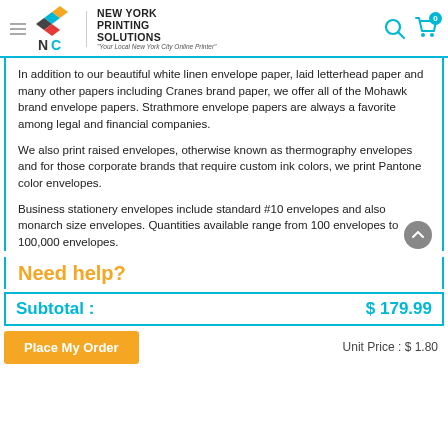NEW YORK PRINTING SOLUTIONS — "Your Local New York City Online Printer"
In addition to our beautiful white linen envelope paper, laid letterhead paper and many other papers including Cranes brand paper, we offer all of the Mohawk brand envelope papers. Strathmore envelope papers are always a favorite among legal and financial companies.
We also print raised envelopes, otherwise known as thermography envelopes and for those corporate brands that require custom ink colors, we print Pantone color envelopes.
Business stationery envelopes include standard #10 envelopes and also monarch size envelopes. Quantities available range from 100 envelopes to 100,000 envelopes.
Need help?
Subtotal :
$ 179.99
Place My Order
Unit Price : $ 1.80